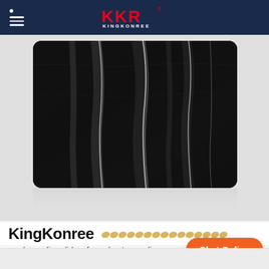KKR KINGKONREE
[Figure (photo): Black marble-textured acrylic solid surface sheet with white streaks, shown as a rectangular sample panel with reflection below on white background]
KingKonree
newly acrylic solid surface sheets suppliers ma...
Chat Online